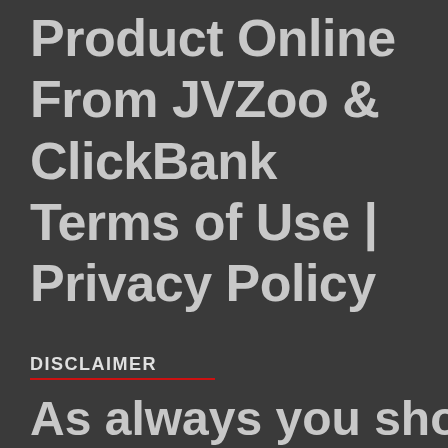Product Online From JVZoo & ClickBank Terms of Use | Privacy Policy
DISCLAIMER
As always you should